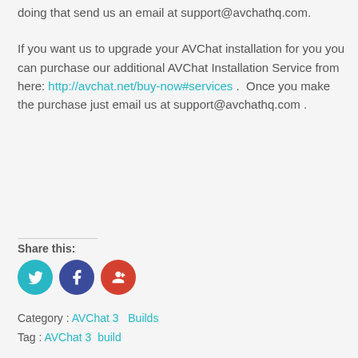doing that send us an email at support@avchathq.com.
If you want us to upgrade your AVChat installation for you you can purchase our additional AVChat Installation Service from here: http://avchat.net/buy-now#services .  Once you make the purchase just email us at support@avchathq.com .
Share this:
[Figure (other): Social share icons: Twitter (cyan circle), Facebook (dark blue circle), Google+ (red circle)]
Category : AVChat 3   Builds
Tag : AVChat 3  build